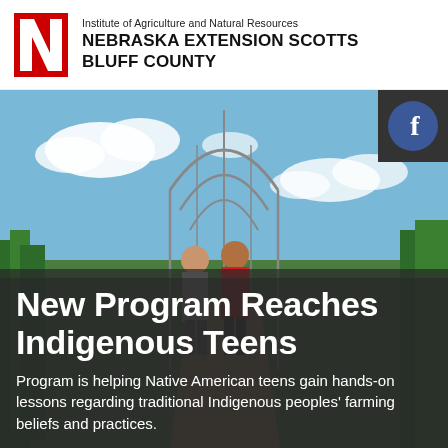[Figure (logo): University of Nebraska red N logo]
Institute of Agriculture and Natural Resources
NEBRASKA EXTENSION SCOTTS BLUFF COUNTY
[Figure (photo): Two teens standing in a garden farm field with wire trellis structure, blue sky with clouds in background. Facebook icon badge in top-right corner.]
New Program Reaches Indigenous Teens
Program is helping Native American teens gain hands-on lessons regarding traditional Indigenous peoples' farming beliefs and practices.